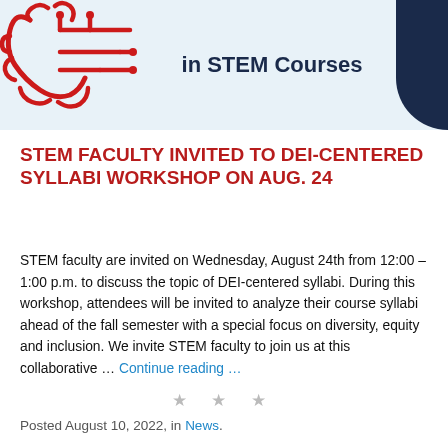[Figure (illustration): Header banner with light blue background, red circuit/gear icon on the left, bold dark navy title text 'in STEM Courses' in the center, and a dark navy curved block on the right showing part of a person's silhouette.]
STEM FACULTY INVITED TO DEI-CENTERED SYLLABI WORKSHOP ON AUG. 24
STEM faculty are invited on Wednesday, August 24th from 12:00 – 1:00 p.m. to discuss the topic of DEI-centered syllabi. During this workshop, attendees will be invited to analyze their course syllabi ahead of the fall semester with a special focus on diversity, equity and inclusion.  We invite STEM faculty to join us at this collaborative … Continue reading …
★ ★ ★
Posted August 10, 2022, in News.